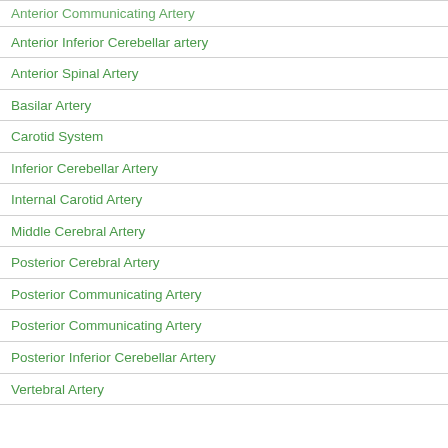Anterior Communicating Artery
Anterior Inferior Cerebellar artery
Anterior Spinal Artery
Basilar Artery
Carotid System
Inferior Cerebellar Artery
Internal Carotid Artery
Middle Cerebral Artery
Posterior Cerebral Artery
Posterior Communicating Artery
Posterior Communicating Artery
Posterior Inferior Cerebellar Artery
Vertebral Artery